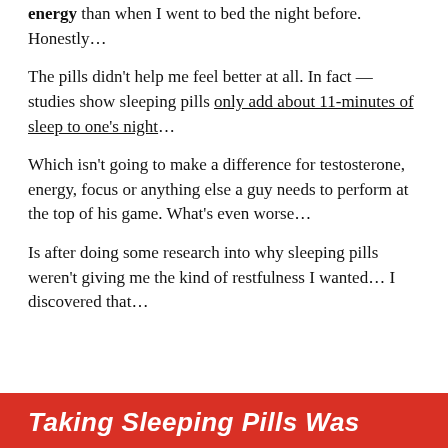energy than when I went to bed the night before. Honestly…
The pills didn't help me feel better at all. In fact — studies show sleeping pills only add about 11-minutes of sleep to one's night…
Which isn't going to make a difference for testosterone, energy, focus or anything else a guy needs to perform at the top of his game. What's even worse…
Is after doing some research into why sleeping pills weren't giving me the kind of restfulness I wanted… I discovered that…
Taking Sleeping Pills Was